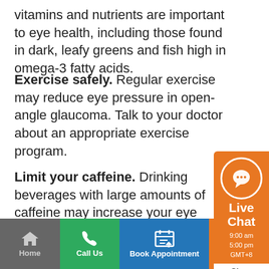Vitamins and nutrients are important to eye health, including those found in dark, leafy greens and fish high in omega-3 fatty acids.
Exercise safely. Regular exercise may reduce eye pressure in open-angle glaucoma. Talk to your doctor about an appropriate exercise program.
Limit your caffeine. Drinking beverages with large amounts of caffeine may increase your eye pressure.
Sip fluids frequently. Drink only moderate...
[Figure (screenshot): Live Chat widget showing chat icon, 'Live Chat' label, hours 9:00 am – 5:00 pm GMT+8, and Close button]
Home | Call Us | Book Appointment | Live Chat